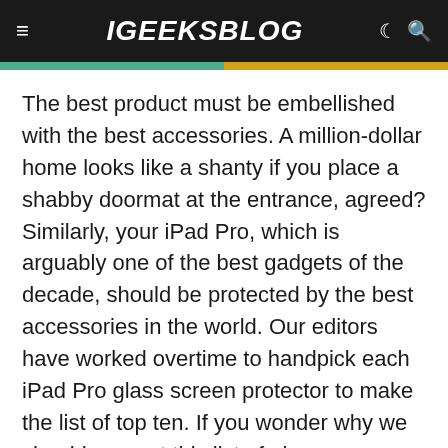iGEEKSBLOG
The best product must be embellished with the best accessories. A million-dollar home looks like a shanty if you place a shabby doormat at the entrance, agreed? Similarly, your iPad Pro, which is arguably one of the best gadgets of the decade, should be protected by the best accessories in the world. Our editors have worked overtime to handpick each iPad Pro glass screen protector to make the list of top ten. If you wonder why we should present this list of glass screen protectors especially when we have already dealt with film protectors, the answer is the difference between the two